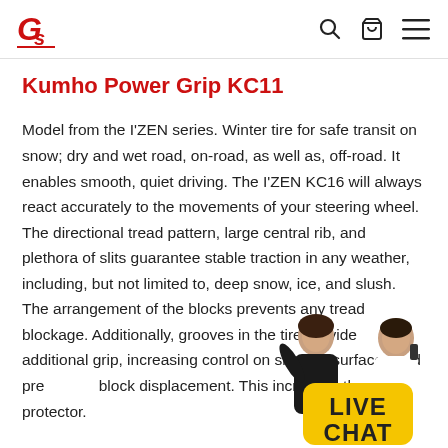GS logo, search icon, cart icon, menu icon
Kumho Power Grip KC11
Model from the I'ZEN series. Winter tire for safe transit on snow; dry and wet road, on-road, as well as, off-road. It enables smooth, quiet driving. The I'ZEN KC16 will always react accurately to the movements of your steering wheel. The directional tread pattern, large central rib, and plethora of slits guarantee stable traction in any weather, including, but not limited to, deep snow, ice, and slush. The arrangement of the blocks prevents any tread blockage. Additionally, grooves in the tire provide additional grip, increasing control on slippery surfaces and prevent block displacement. This increases the protector.
[Figure (photo): Live chat widget overlay showing two people (man and woman) with a yellow LIVE CHAT badge]